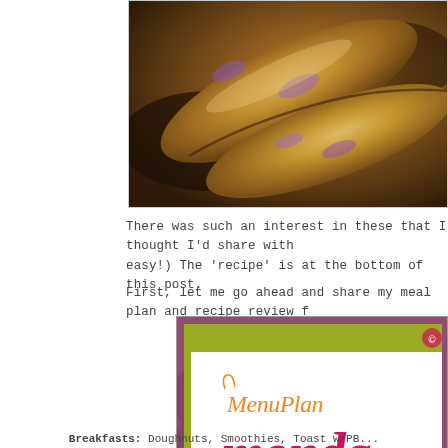[Figure (photo): Close-up photo of baked pastry rolls with sugar/cinnamon topping on a baking surface]
There was such an interest in these that I thought I'd share with easy!) The 'recipe' is at the bottom of this post.
First, let me go ahead and share my meal plan and recipe review f
[Figure (logo): Menu Plan Monday logo/banner with decorative pink and olive green typography on mauve background]
Breakfasts: Doughnuts, Smoothies, Toast w/PB...